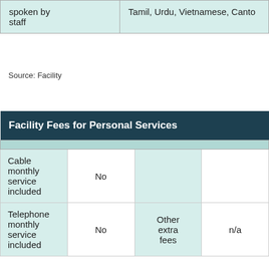| spoken by staff | Tamil, Urdu, Vietnamese, Canto... |
| --- | --- |
| spoken by staff | Tamil, Urdu, Vietnamese, Canto |
Source: Facility
| Facility Fees for Personal Services |  |  |  |
| --- | --- | --- | --- |
| Cable monthly service included | No |  |  |
| Telephone monthly service included | No | Other extra fees | n/a |